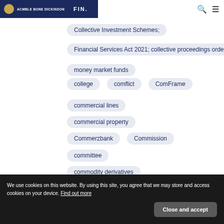ACMBLE BONE DICKINSON | FIN.
Collective Investment Schemes;
Financial Services Act 2021; collective proceedings order
money market funds
college
comflict
ComFrame
commercial lines
commercial property
Commerzbank
Commission
committee
commodity derivatives
commodity market trading
company law
comparison
We use cookies on this website. By using this site, you agree that we may store and access cookies on your device. Find out more
Close and accept